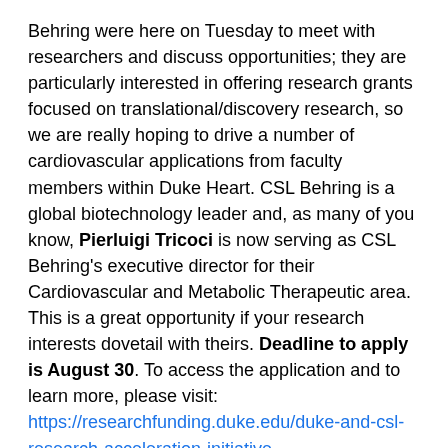Behring were here on Tuesday to meet with researchers and discuss opportunities; they are particularly interested in offering research grants focused on translational/discovery research, so we are really hoping to drive a number of cardiovascular applications from faculty members within Duke Heart. CSL Behring is a global biotechnology leader and, as many of you know, Pierluigi Tricoci is now serving as CSL Behring's executive director for their Cardiovascular and Metabolic Therapeutic area. This is a great opportunity if your research interests dovetail with theirs. Deadline to apply is August 30. To access the application and to learn more, please visit: https://researchfunding.duke.edu/duke-and-csl-research-acceleration-initiative.
Upcoming Opportunities/Save the Date:
September 22: Triangle Heart Walk: